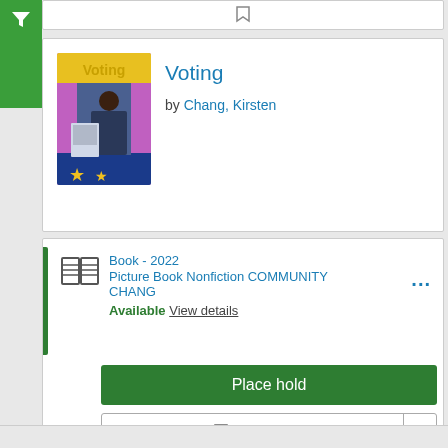[Figure (screenshot): Green filter button with funnel icon in top-left corner of library catalog interface]
[Figure (illustration): Book cover for 'Voting' by Chang, Kirsten showing a man at a voting booth with colorful star decorations]
Voting
by Chang, Kirsten
Book - 2022
Picture Book Nonfiction COMMUNITY CHANG
Available View details
Place hold
For Later